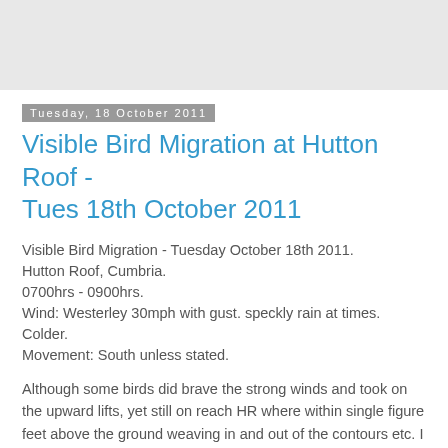[Figure (other): Gray header image / banner area at top of blog page]
Tuesday, 18 October 2011
Visible Bird Migration at Hutton Roof - Tues 18th October 2011
Visible Bird Migration - Tuesday October 18th 2011.
Hutton Roof, Cumbria.
0700hrs - 0900hrs.
Wind: Westerley 30mph with gust. speckly rain at times. Colder.
Movement: South unless stated.
Although some birds did brave the strong winds and took on the upward lifts, yet still on reach HR where within single figure feet above the ground weaving in and out of the contours etc. I did suspect, without any evidence that most of the Thrushes today would have preferred to have a more tolerant out of the wind passage by going North West down in the bottom on the Lupton Valley side. A special highlight